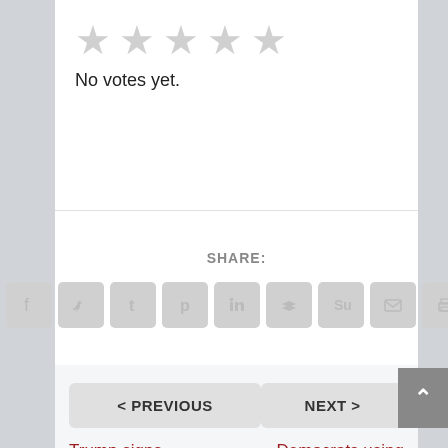[Figure (other): Five empty/unfilled star rating icons in gray]
No votes yet.
SHARE:
[Figure (other): Row of 9 social share icon buttons (Facebook, Twitter, Tumblr, Pinterest, LinkedIn, Buffer, StumbleUpon, Email, Print) all in gray]
< PREVIOUS
NEXT >
Trump signs executive order
Democrats using Devin Nunes to